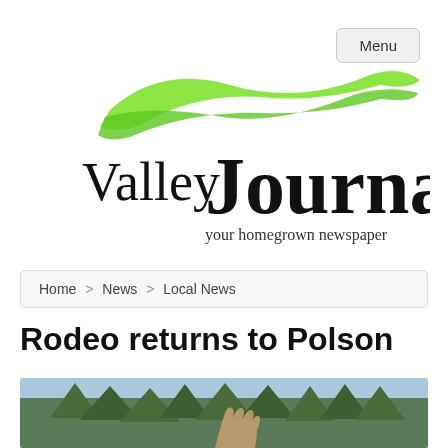Menu
[Figure (logo): Valley Journal logo with green swoosh brush stroke above, black serif text 'Valley Journal' and tagline 'your homegrown newspaper']
Home > News > Local News
Rodeo returns to Polson
[Figure (photo): Outdoor photo showing trees (conifers) against a blue sky background with a hand raised in the foreground, rodeo scene]